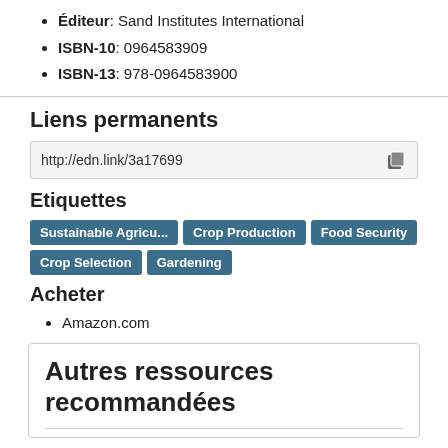Éditeur: Sand Institutes International
ISBN-10: 0964583909
ISBN-13: 978-0964583900
Liens permanents
http://edn.link/3a17699
Etiquettes
Sustainable Agricu... | Crop Production | Food Security | Crop Selection | Gardening
Acheter
Amazon.com
Autres ressources recommandées